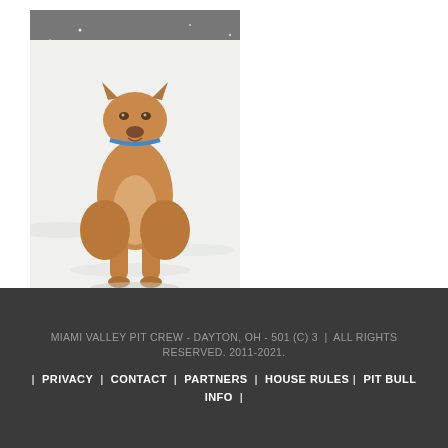[Figure (photo): A tan/fawn pit bull dog sitting in snow, looking at the camera, wearing a blue collar. Dark background at top, snowy ground.]
House Rules for New Dogs
MIAMI VALLEY PIT CREW - DAYTON, OH - 501 (C) 3 | ALL RIGHTS RESERVED. 2011-2021. | PRIVACY | CONTACT | PARTNERS | HOUSE RULES | PIT BULL INFO |